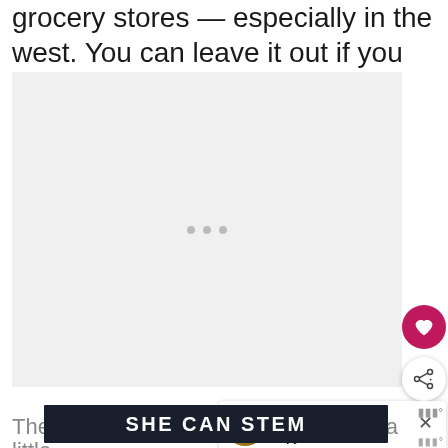grocery stores — especially in the west. You can leave it out if you need to make dairy-free pesto.
[Figure (photo): Large image placeholder with light gray background and three small gray dots in the center]
[Figure (infographic): UI overlay with: heart/favorite button (magenta circle), share button (white circle with share icon), 'What's Next' card showing Chipotle Copycat... with circular thumbnail, Mediavine logo]
The [partially visible text] ...ll be a little [partially visible] ...one
[Figure (screenshot): Dark advertisement banner reading SHE CAN STEM with X close button and Mediavine logo]